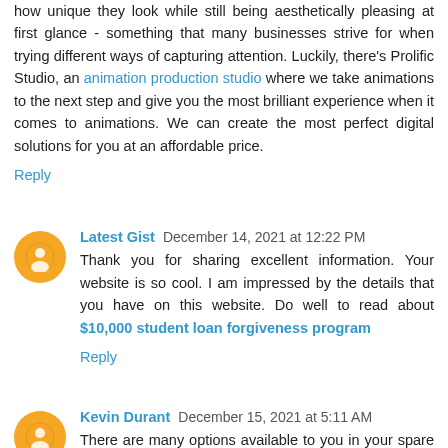how unique they look while still being aesthetically pleasing at first glance - something that many businesses strive for when trying different ways of capturing attention. Luckily, there's Prolific Studio, an animation production studio where we take animations to the next step and give you the most brilliant experience when it comes to animations. We can create the most perfect digital solutions for you at an affordable price.
Reply
Latest Gist December 14, 2021 at 12:22 PM
Thank you for sharing excellent information. Your website is so cool. I am impressed by the details that you have on this website. Do well to read about $10,000 student loan forgiveness program
Reply
Kevin Durant December 15, 2021 at 5:11 AM
There are many options available to you in your spare time.